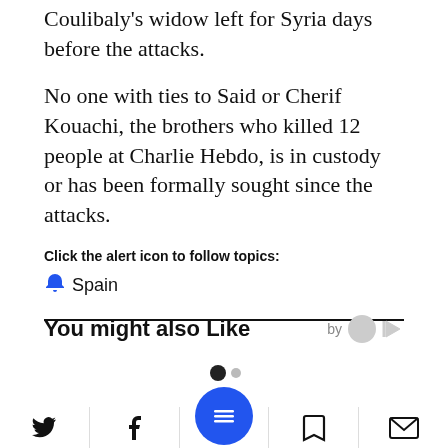Coulibaly's widow left for Syria days before the attacks.
No one with ties to Said or Cherif Kouachi, the brothers who killed 12 people at Charlie Hebdo, is in custody or has been formally sought since the attacks.
Click the alert icon to follow topics:
Spain
You might also Like
[Figure (other): Pagination dots indicator showing two dots, one filled black and one gray.]
[Figure (other): Bottom navigation bar with Twitter, Facebook, menu (FAB), bookmark, and email icons.]